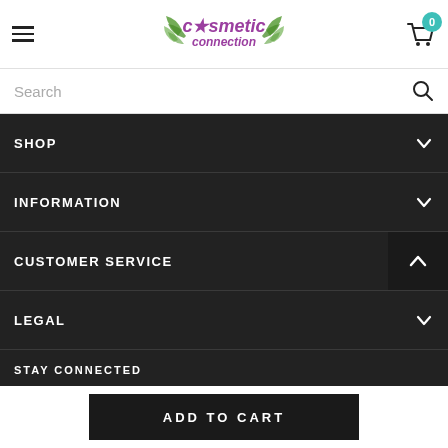[Figure (logo): Cosmetic Connection logo with purple text and green leaf decorations]
Search
SHOP
INFORMATION
CUSTOMER SERVICE
LEGAL
STAY CONNECTED
[Figure (illustration): Social media icons: Facebook, Twitter, Instagram]
ADD TO CART